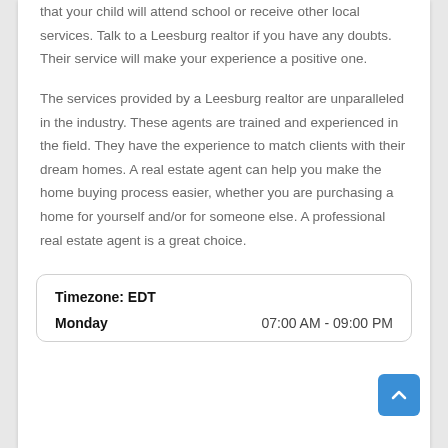that your child will attend school or receive other local services. Talk to a Leesburg realtor if you have any doubts. Their service will make your experience a positive one.
The services provided by a Leesburg realtor are unparalleled in the industry. These agents are trained and experienced in the field. They have the experience to match clients with their dream homes. A real estate agent can help you make the home buying process easier, whether you are purchasing a home for yourself and/or for someone else. A professional real estate agent is a great choice.
|  |  |
| --- | --- |
| Timezone: EDT |  |
| Monday | 07:00 AM - 09:00 PM |